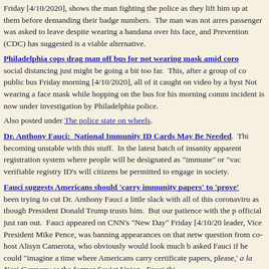Friday [4/10/2020], shows the man fighting the police as they lift him up at them before demanding their badge numbers. The man was not arrested. passenger was asked to leave despite wearing a bandana over his face, and Prevention (CDC) has suggested is a viable alternative.
Philadelphia cops drag man off bus for not wearing mask amid coro social distancing just might be going a bit too far. This, after a group of cops public bus Friday morning [4/10/2020], all of it caught on video by a bystander. Not wearing a face mask while hopping on the bus for his morning commute incident is now under investigation by Philadelphia police.
Also posted under The police state on wheels.
Dr. Anthony Fauci: National Immunity ID Cards May Be Needed. This becoming unstable with this stuff. In the latest batch of insanity apparently registration system where people will be designated as "immune" or "vaccinated" verifiable registry ID's will citizens be permitted to engage in society.
Fauci suggests Americans should 'carry immunity papers' to 'prove' been trying to cut Dr. Anthony Fauci a little slack with all of this coronavirus as though President Donald Trump trusts him. But our patience with the official just ran out. Fauci appeared on CNN's "New Day" Friday [4/10/2020] leader, Vice President Mike Pence, was banning appearances on that network question from co-host Alisyn Camerota, who obviously would look much better asked Fauci if he could "imagine a time where Americans carry certificates papers, please,' a la Nazi Germany or the former Soviet Union. Fauci thinks
Your papers, please!
Dr. Anthony Fauci: Americans could eventually carry certificates of Fauci on Friday [4/10/2020] said it's possible that Americans could eventually to the coronavirus once proper testing is widespread enough. "That's possible Institute of Allergy and Infectious Diseases, said on CNN's "New Day","